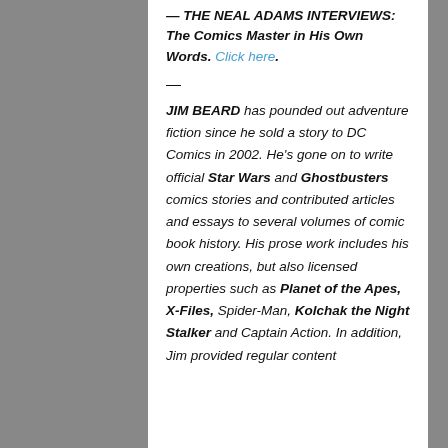— THE NEAL ADAMS INTERVIEWS: The Comics Master in His Own Words. Click here.
—
JIM BEARD has pounded out adventure fiction since he sold a story to DC Comics in 2002. He's gone on to write official Star Wars and Ghostbusters comics stories and contributed articles and essays to several volumes of comic book history. His prose work includes his own creations, but also licensed properties such as Planet of the Apes, X-Files, Spider-Man, Kolchak the Night Stalker and Captain Action. In addition, Jim provided regular content